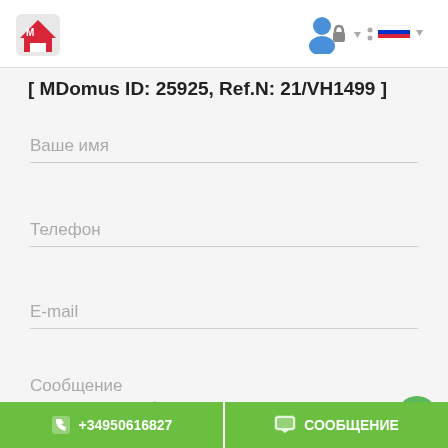MDomus real estate website header with logo and user/language icons
[ MDomus ID: 25925, Ref.N: 21/VH1499 ]
Ваше имя
Телефон
E-mail
Сообщение
Нажимая "Отправить сообщение", Вы соглашаетесь с Политикой Конфиденциальности
+34950616827  СООБЩЕНИЕ